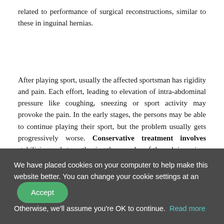related to performance of surgical reconstructions, similar to these in inguinal hernias.
After playing sport, usually the affected sportsman has rigidity and pain. Each effort, leading to elevation of intra-abdominal pressure like coughing, sneezing or sport activity may provoke the pain. In the early stages, the persons may be able to continue playing their sport, but the problem usually gets progressively worse. Conservative treatment involves stabilising and strengthening the muscles of the pelvic region. Rest is necessary for 6-8 weeks. It may allow continuation of active sport activity for a short period of
We have placed cookies on your computer to help make this website better. You can change your cookie settings at any time. Otherwise, we'll assume you're OK to continue. Read more